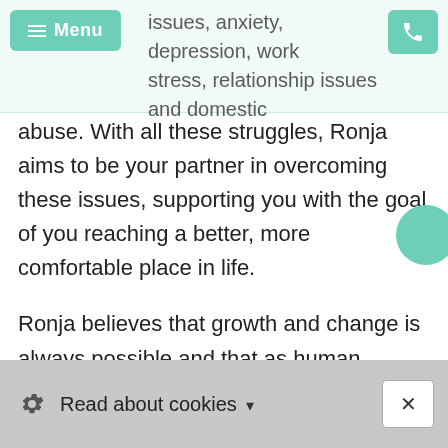issues, anxiety, depression, work stress, relationship issues and domestic
abuse. With all these struggles, Ronja aims to be your partner in overcoming these issues, supporting you with the goal of you reaching a better, more comfortable place in life.
Ronja believes that growth and change is always possible and that as human beings we have a natural drive towards healing ourselves.
As a therapist, Ronja aims to be your
Read about cookies ▼  ×